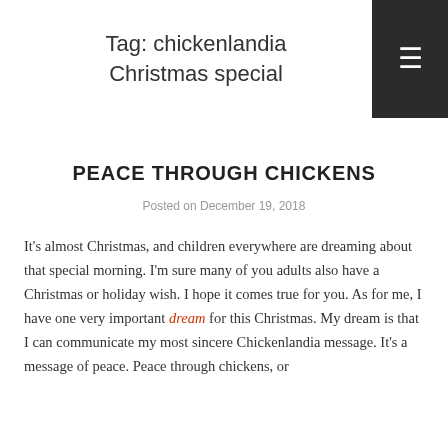Tag: chickenlandia Christmas special
PEACE THROUGH CHICKENS
Posted on December 19, 2018
It's almost Christmas, and children everywhere are dreaming about that special morning. I'm sure many of you adults also have a Christmas or holiday wish. I hope it comes true for you. As for me, I have one very important dream for this Christmas. My dream is that I can communicate my most sincere Chickenlandia message. It's a message of peace. Peace through chickens, or